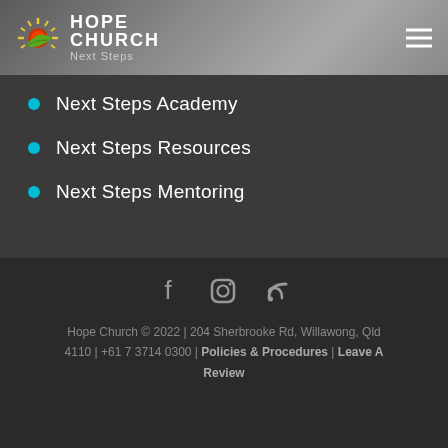[Figure (logo): Hope Church Next Steps logo with sunburst and leaf icon]
Next Steps Academy
Next Steps Resources
Next Steps Mentoring
Hope Church © 2022 | 204 Sherbrooke Rd, Willawong, Qld 4110 | +61 7 3714 0300 | Policies & Procedures | Leave A Review